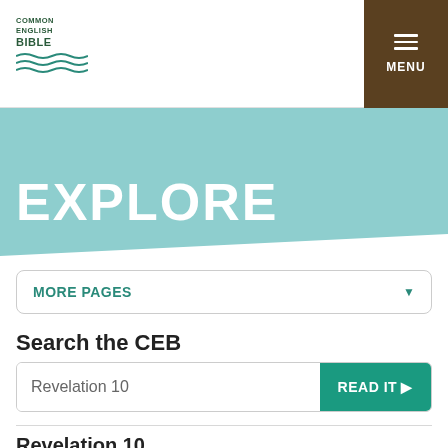[Figure (logo): Common English Bible logo with text COMMON ENGLISH BIBLE and wave lines beneath]
MENU
EXPLORE
MORE PAGES
Search the CEB
Revelation 10
READ IT ▶
Revelation 10